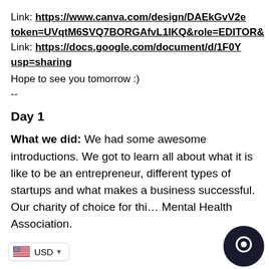Link: https://www.canva.com/design/DAEkGvV2e... token=UVqtM6SVQ7BORGAfvL1IKQ&role=EDITOR&...
Link: https://docs.google.com/document/d/1F0Y... usp=sharing
Hope to see you tomorrow :)
--
Day 1
What we did: We had some awesome introductions. We got to learn all about what it is like to be an entrepreneur, different types of startups and what makes a business successful. Our charity of choice for this... Mental Health Association.